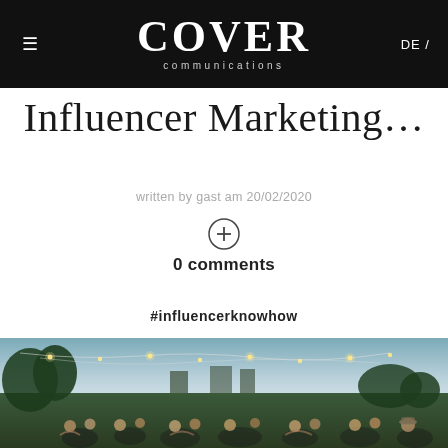≡  COVER communications  DE /
Influencer Marketing…
written by gast am 20/02/2020
0 comments
#influencerknowhow
[Figure (photo): Outdoor evening event with string lights, people seated at tables surrounded by greenery under a dusky blue sky]